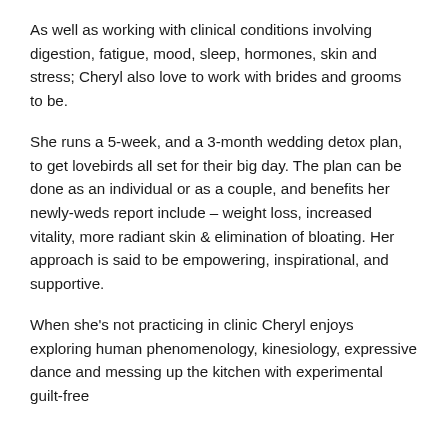As well as working with clinical conditions involving digestion, fatigue, mood, sleep, hormones, skin and stress; Cheryl also love to work with brides and grooms to be.
She runs a 5-week, and a 3-month wedding detox plan, to get lovebirds all set for their big day. The plan can be done as an individual or as a couple, and benefits her newly-weds report include – weight loss, increased vitality, more radiant skin & elimination of bloating. Her approach is said to be empowering, inspirational, and supportive.
When she's not practicing in clinic Cheryl enjoys exploring human phenomenology, kinesiology, expressive dance and messing up the kitchen with experimental guilt-free